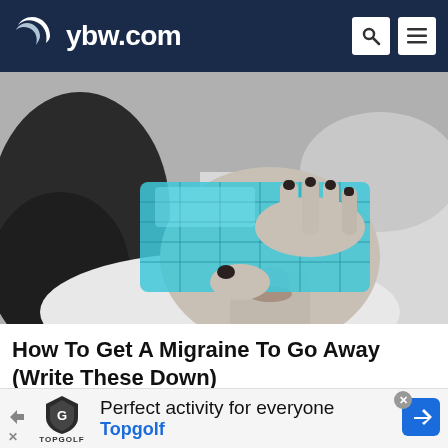ybw.com
[Figure (photo): Black and white photo of a woman lying down holding a blue gel ice pack over her eyes with both hands, wearing dark nail polish.]
How To Get A Migraine To Go Away (Write These Down)
Migraine | Search Ads | Sponsored
[Figure (infographic): Topgolf advertisement banner: 'Perfect activity for everyone' with Topgolf logo and a blue navigation arrow icon.]